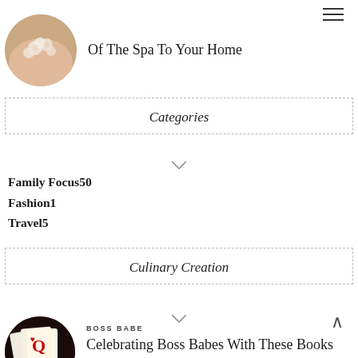[Figure (photo): Circular thumbnail of a spa scene with white roses/flowers on a person's back]
Of The Spa To Your Home
Categories
Family Focus50
Fashion1
Travel5
Culinary Creation
[Figure (photo): Circular thumbnail of playing cards (queen of hearts) with red hearts on dark background]
BOSS BABE
Celebrating Boss Babes With These Books